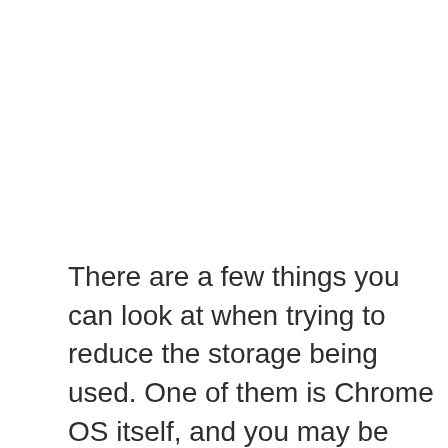There are a few things you can look at when trying to reduce the storage being used. One of them is Chrome OS itself, and you may be concerned about how much storage Chrome OS uses. The amount of storage used by Chrome OS will